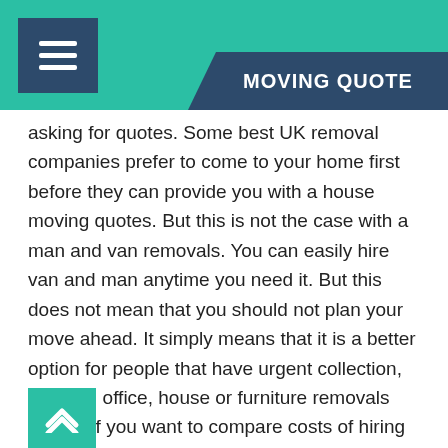MOVING QUOTE
asking for quotes. Some best UK remo... come to your home first before they can provide you with a house moving quotes. But this is not the case with a man and van removals. You can easily hire van and man anytime you need it. But this does not mean that you should not plan your move ahead. It simply means that it is a better option for people that have urgent collection, delivery, office, house or furniture removals needs. If you want to compare costs of hiring express man with a van London contact us today.
Getting the necessary assistance
There are some people that will like to relocate on their own. And that's fine as this is the cheapest option to move. However this can be very stressful especially if you have no experience in planning a removals. You may be able to pack all your items but will you be able to load them on the van? Even if you can load them on the van, do you have the van that will accommodate all your items? If you